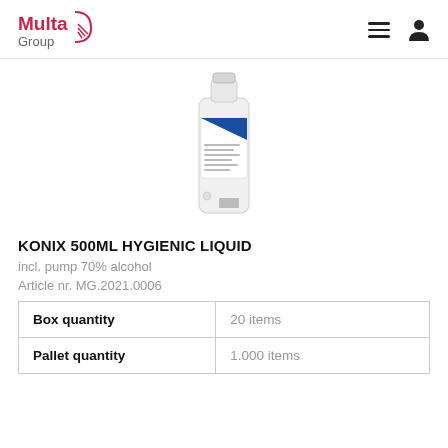Multa Group
[Figure (photo): White 500ml plastic bottle with pump, Konix Hygienic Liquid, blue label with text and barcode]
KONIX 500ML HYGIENIC LIQUID
incl. pump 70% alcohol
Article nr. MG.2021.0006
| Box quantity | 20 items |
| Pallet quantity | 1.000 items |